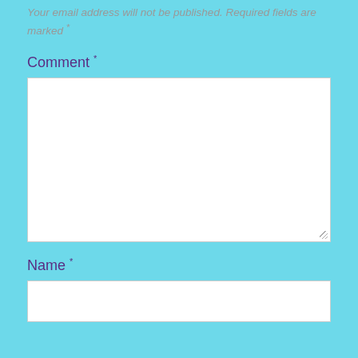Your email address will not be published. Required fields are marked *
Comment *
[Figure (other): Large white textarea input box for comment entry with resize handle]
Name *
[Figure (other): White single-line input box for name entry]